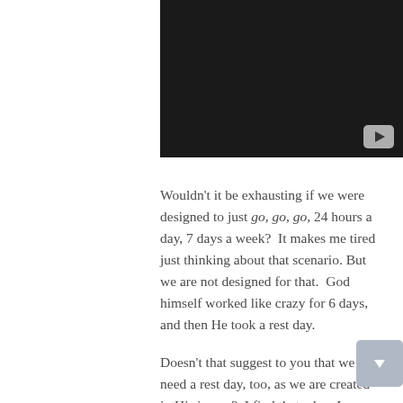[Figure (screenshot): Dark/black video thumbnail with a YouTube-style play button in the bottom-right corner]
Wouldn't it be exhausting if we were designed to just go, go, go, 24 hours a day, 7 days a week?  It makes me tired just thinking about that scenario. But we are not designed for that.  God himself worked like crazy for 6 days, and then He took a rest day.
Doesn't that suggest to you that we need a rest day, too, as we are created in His image?  I find that when I neglect to take time for refreshing, my body takes matters in its own hands and forces me to